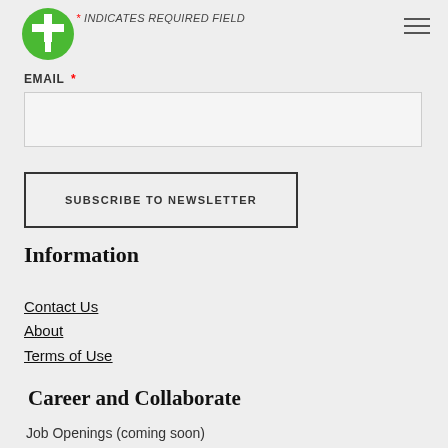[Figure (logo): Green circle logo with white cross/plus and tree shape inside]
* INDICATES REQUIRED FIELD
EMAIL *
SUBSCRIBE TO NEWSLETTER
Information
Contact Us
About
Terms of Use
Career and Collaborate
Job Openings (coming soon)